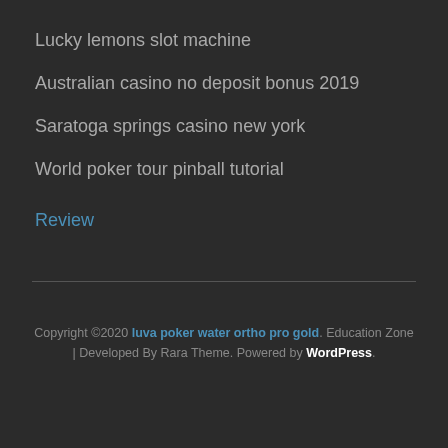Lucky lemons slot machine
Australian casino no deposit bonus 2019
Saratoga springs casino new york
World poker tour pinball tutorial
Review
Copyright ©2020 luva poker water ortho pro gold. Education Zone | Developed By Rara Theme. Powered by WordPress.